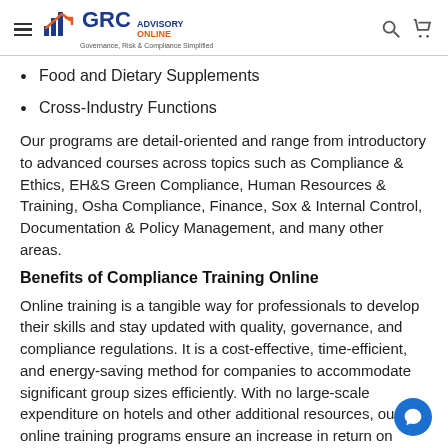GRC Advisory Online — Governance, Risk & Compliance Simplified
Food and Dietary Supplements
Cross-Industry Functions
Our programs are detail-oriented and range from introductory to advanced courses across topics such as Compliance & Ethics, EH&S Green Compliance, Human Resources & Training, Osha Compliance, Finance, Sox & Internal Control, Documentation & Policy Management, and many other areas.
Benefits of Compliance Training Online
Online training is a tangible way for professionals to develop their skills and stay updated with quality, governance, and compliance regulations. It is a cost-effective, time-efficient, and energy-saving method for companies to accommodate significant group sizes efficiently. With no large-scale expenditure on hotels and other additional resources, our online training programs ensure an increase in return on investment and enhanced skill development